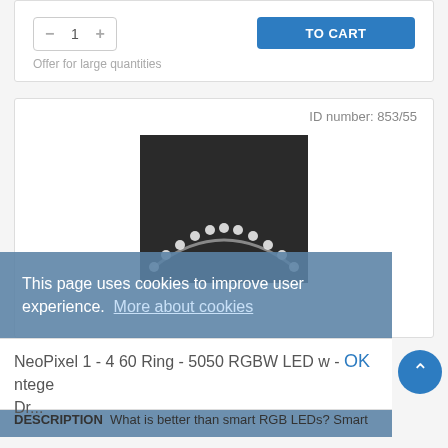[Figure (screenshot): Add to cart section showing quantity selector with minus/plus buttons and a blue ADD TO CART button]
Offer for large quantities
ID number: 853/55
[Figure (photo): NeoPixel LED ring product photo showing curved LED strip with white LEDs on dark background]
This page uses cookies to improve user experience. More about cookies
NeoPixel 1 - 4 60 Ring - 5050 RGBW LED w - ntege Dr...
DESCRIPTION  What is better than smart RGB LEDs? Smart